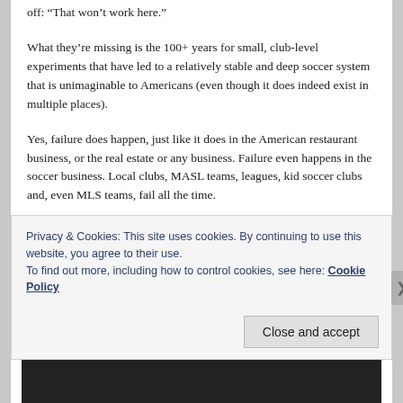off: “That won’t work here.”
What they’re missing is the 100+ years for small, club-level experiments that have led to a relatively stable and deep soccer system that is unimaginable to Americans (even though it does indeed exist in multiple places).
Yes, failure does happen, just like it does in the American restaurant business, or the real estate or any business. Failure even happens in the soccer business. Local clubs, MASL teams, leagues, kid soccer clubs and, even MLS teams, fail all the time.
Privacy & Cookies: This site uses cookies. By continuing to use this website, you agree to their use.
To find out more, including how to control cookies, see here: Cookie Policy
Close and accept